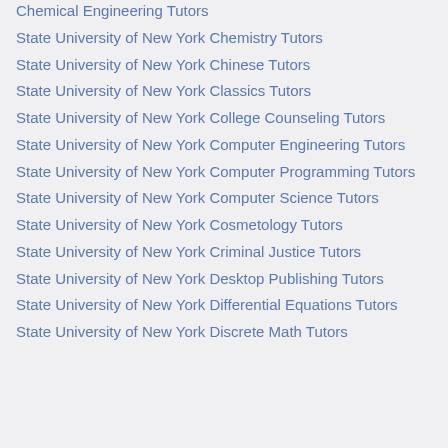Chemical Engineering Tutors
State University of New York Chemistry Tutors
State University of New York Chinese Tutors
State University of New York Classics Tutors
State University of New York College Counseling Tutors
State University of New York Computer Engineering Tutors
State University of New York Computer Programming Tutors
State University of New York Computer Science Tutors
State University of New York Cosmetology Tutors
State University of New York Criminal Justice Tutors
State University of New York Desktop Publishing Tutors
State University of New York Differential Equations Tutors
State University of New York Discrete Math Tutors